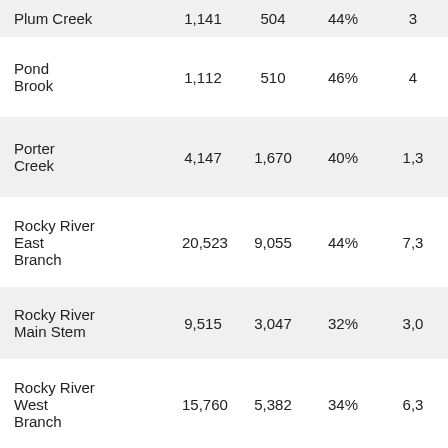| Plum Creek | 1,141 | 504 | 44% | 3… |
| Pond Brook | 1,112 | 510 | 46% | 4… |
| Porter Creek | 4,147 | 1,670 | 40% | 1,3… |
| Rocky River East Branch | 20,523 | 9,055 | 44% | 7,3… |
| Rocky River Main Stem | 9,515 | 3,047 | 32% | 3,0… |
| Rocky River West Branch | 15,760 | 5,382 | 34% | 6,3… |